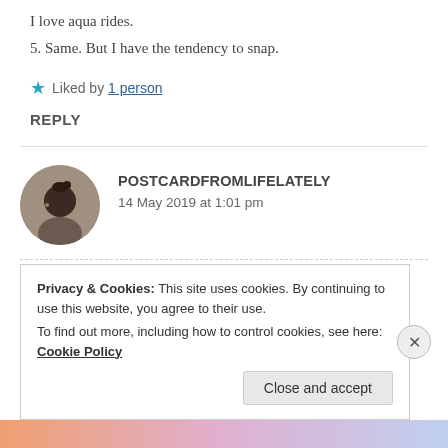I love aqua rides.
5. Same. But I have the tendency to snap.
Liked by 1 person
REPLY
POSTCARDFROMLIFELATELY
14 May 2019 at 1:01 pm
Privacy & Cookies: This site uses cookies. By continuing to use this website, you agree to their use.
To find out more, including how to control cookies, see here: Cookie Policy
Close and accept